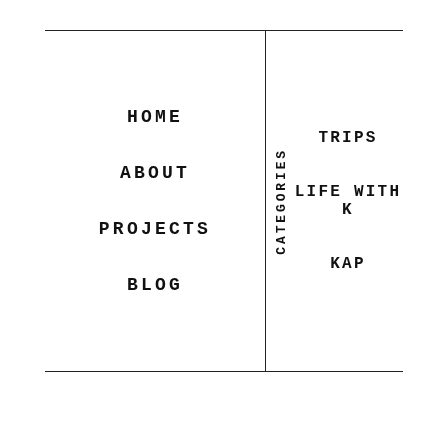HOME
ABOUT
PROJECTS
BLOG
CATEGORIES
TRIPS
LIFE WITH K
KAP